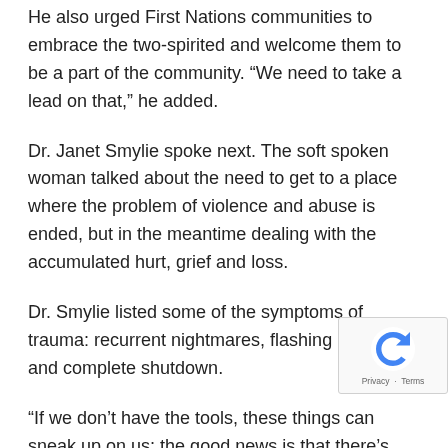He also urged First Nations communities to embrace the two-spirited and welcome them to be a part of the community. “We need to take a lead on that,” he added.
Dr. Janet Smylie spoke next. The soft spoken woman talked about the need to get to a place where the problem of violence and abuse is ended, but in the meantime dealing with the accumulated hurt, grief and loss.
Dr. Smylie listed some of the symptoms of trauma: recurrent nightmares, flashing images and complete shutdown.
“If we don’t have the tools, these things can sneak up on us; the good news is that there’s lots of community resources, through ceremonies and medical staff,” Dr. Smylie said, noting the importance of self care.
“As families and communities, we need to be more attentive